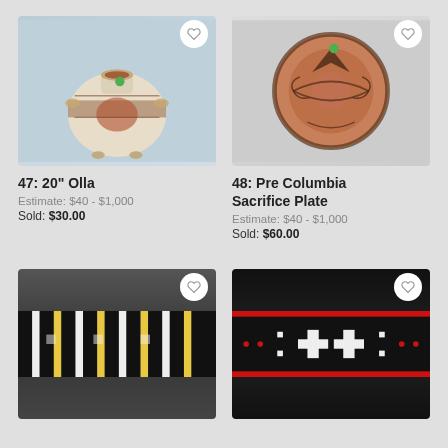[Figure (photo): Ceramic olla (pot) with decorative painted patterns in brown and red on cream background, with handles and footed base]
47: 20" Olla
Estimate: $40 - $1,000
Sold: $30.00
[Figure (photo): Round copper-toned Pre Columbian sacrifice plate with dark engraved bird/geometric patterns on terracotta background]
48: Pre Columbia Sacrifice Plate
Estimate: $40 - $1,000
Sold: $60.00
[Figure (photo): Dark textile/blanket with black, white and yellow stripes and geometric Native American patterns]
[Figure (photo): Dark textile with black background and red/white geometric Southwest Native American patterns]